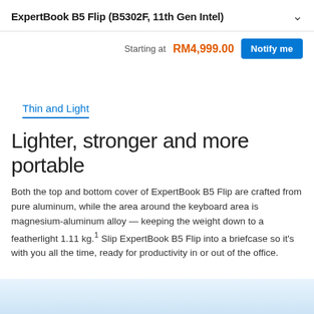ExpertBook B5 Flip (B5302F, 11th Gen Intel)
Starting at  RM4,999.00  Notify me
Thin and Light
Lighter, stronger and more portable
Both the top and bottom cover of ExpertBook B5 Flip are crafted from pure aluminum, while the area around the keyboard area is magnesium-aluminum alloy — keeping the weight down to a featherlight 1.11 kg.¹ Slip ExpertBook B5 Flip into a briefcase so it's with you all the time, ready for productivity in or out of the office.
[Figure (photo): Partial product image visible at bottom of page]